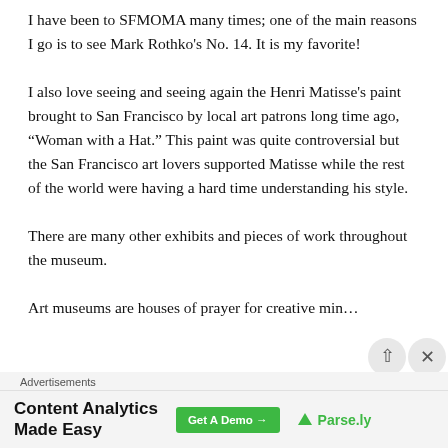I have been to SFMOMA many times; one of the main reasons I go is to see Mark Rothko's No. 14. It is my favorite!
I also love seeing and seeing again the Henri Matisse's paint brought to San Francisco by local art patrons long time ago, “Woman with a Hat.” This paint was quite controversial but the San Francisco art lovers supported Matisse while the rest of the world were having a hard time understanding his style.
There are many other exhibits and pieces of work throughout the museum.
Art museums are houses of prayer for creative min…
Advertisements
[Figure (other): Advertisement banner: 'Content Analytics Made Easy' with a green 'Get A Demo →' button and Parse.ly logo]